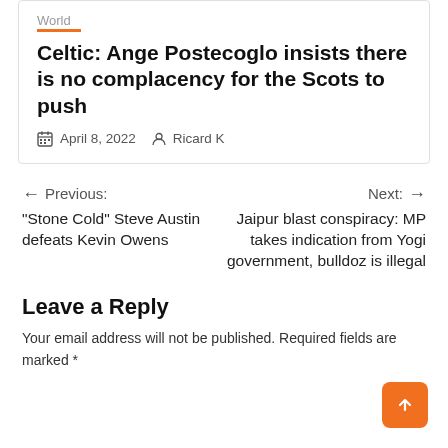World
Celtic: Ange Postecoglo insists there is no complacency for the Scots to push
April 8, 2022   Ricard K
← Previous: "Stone Cold" Steve Austin defeats Kevin Owens
Next: → Jaipur blast conspiracy: MP takes indication from Yogi government, bulldoz is illegal
Leave a Reply
Your email address will not be published. Required fields are marked *